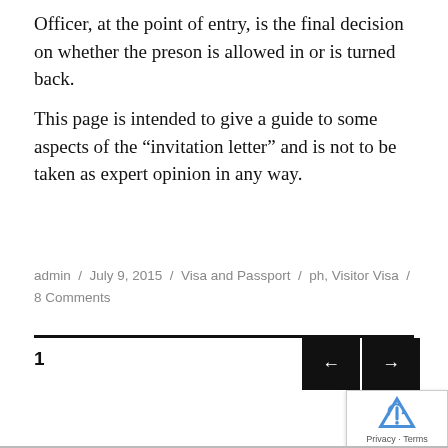Officer, at the point of entry, is the final decision on whether the preson is allowed in or is turned back.
This page is intended to give a guide to some aspects of the “invitation letter” and is not to be taken as expert opinion in any way.
admin / July 9, 2015 / Visa and Passport / ph, Visitor Visa / 8 Comments
1